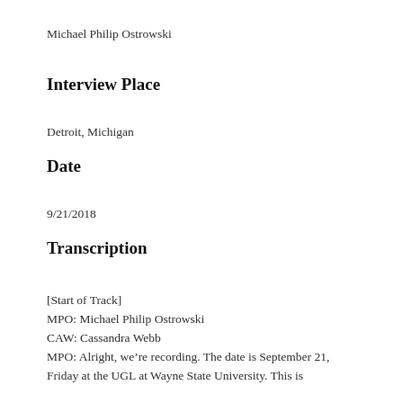Michael Philip Ostrowski
Interview Place
Detroit, Michigan
Date
9/21/2018
Transcription
[Start of Track]
MPO: Michael Philip Ostrowski
CAW: Cassandra Webb
MPO: Alright, we're recording. The date is September 21, Friday at the UGL at Wayne State University. This is